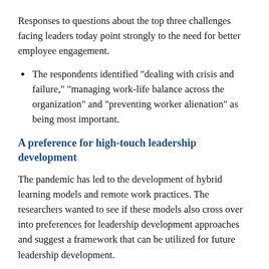Responses to questions about the top three challenges facing leaders today point strongly to the need for better employee engagement.
The respondents identified "dealing with crisis and failure," "managing work-life balance across the organization" and "preventing worker alienation" as being most important.
A preference for high-touch leadership development
The pandemic has led to the development of hybrid learning models and remote work practices. The researchers wanted to see if these models also cross over into preferences for leadership development approaches and suggest a framework that can be utilized for future leadership development.